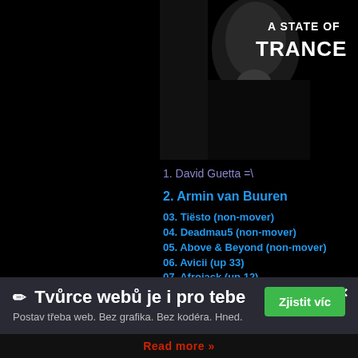[Figure (photo): Album cover for 'A State of Trance' showing a person in black against dark background with text 'A STATE OF TRANCE' in white]
1. David Guetta =\
2. Armin van Buuren
03. Tiësto (non-mover)
04. Deadmau5 (non-mover)
05. Above & Beyond (non-mover)
06. Avicii (up 33)
07. Afrojack (up 12)
08. Dash Berlin (up 7 )
09. Markus Schulz (down 1)
10. Swedish House Mafia (up 13)
✏ Tvůrce webů je i pro tebe
Postav třeba web. Bez grafika. Bez kodéra. Hned.
Zjistit víc
Read more »